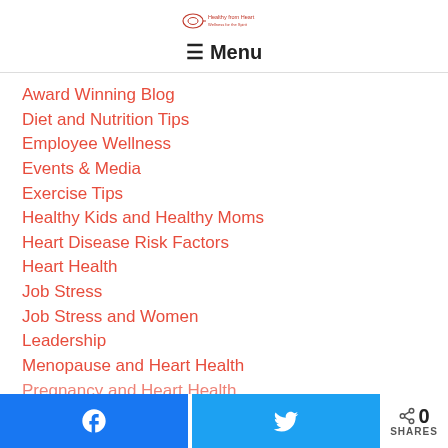☰ Menu
Award Winning Blog
Diet and Nutrition Tips
Employee Wellness
Events & Media
Exercise Tips
Healthy Kids and Healthy Moms
Heart Disease Risk Factors
Heart Health
Job Stress
Job Stress and Women
Leadership
Menopause and Heart Health
Pregnancy and Heart Health